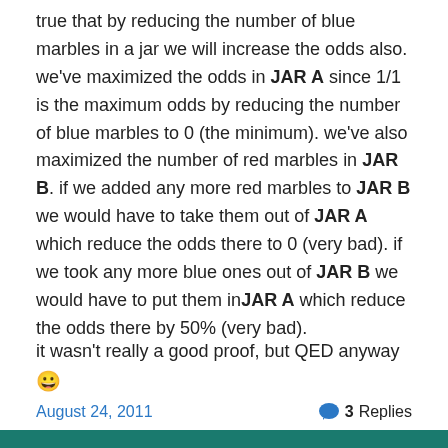true that by reducing the number of blue marbles in a jar we will increase the odds also. we've maximized the odds in JAR A since 1/1 is the maximum odds by reducing the number of blue marbles to 0 (the minimum). we've also maximized the number of red marbles in JAR B. if we added any more red marbles to JAR B we would have to take them out of JAR A which reduce the odds there to 0 (very bad). if we took any more blue ones out of JAR B we would have to put them in JAR A which reduce the odds there by 50% (very bad).
it wasn't really a good proof, but QED anyway 😀
August 24, 2011   3 Replies